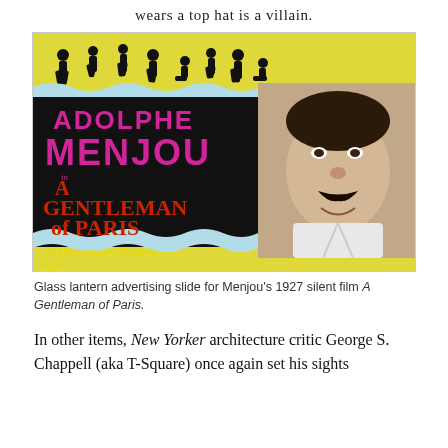wears a top hat is a villain.
[Figure (photo): Glass lantern advertising slide for Adolphe Menjou's 1927 silent film 'A Gentleman of Paris', a Paramount Picture. The poster features yellow background with black silhouettes of dancers at top, a black band with pink and red text, and a black-and-white photo of Menjou's face on the right.]
Glass lantern advertising slide for Menjou's 1927 silent film A Gentleman of Paris.
In other items, New Yorker architecture critic George S. Chappell (aka T-Square) once again set his sights